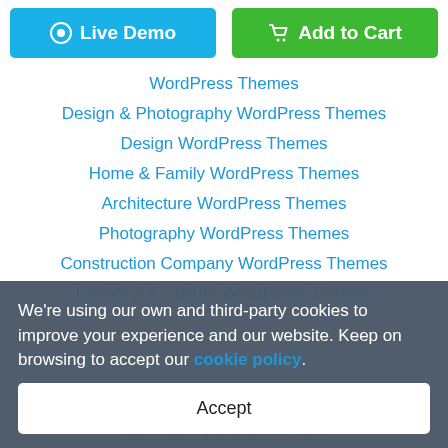[Figure (other): Two buttons: 'Live Demo' (blue) and 'Add to Cart' (green)]
WordPress Themes
Design & Photography WordPress Themes
Design WordPress Themes
Home & Family WordPress Themes
Architecture WordPress Themes
Photography WordPress Themes
Construction Company WordPress Themes
Interior & Furniture WordPress Themes
Photographer Portfolio WordPress Themes
Interior Design WordPress Themes
Web Design WordPress Themes
We're using our own and third-party cookies to improve your experience and our website. Keep on browsing to accept our cookie policy.
Accept